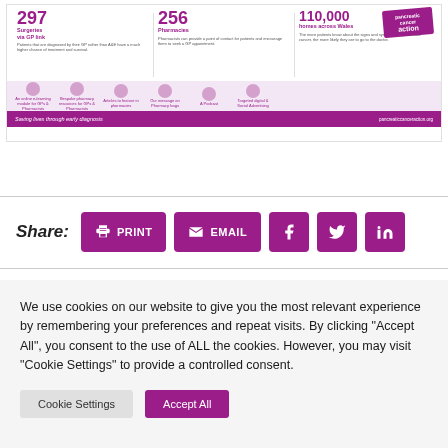[Figure (infographic): Pancreatic Cancer Action Wales campaign infographic showing 297 surgeries via GP link, 256 pharmacies, sent to more than 110,000 homes across Wales, with campaign icons and purple footer reading 'Saving lives through early diagnosis' and pancreaticcanceraction.org]
Share:
PRINT
EMAIL
We use cookies on our website to give you the most relevant experience by remembering your preferences and repeat visits. By clicking "Accept All", you consent to the use of ALL the cookies. However, you may visit "Cookie Settings" to provide a controlled consent.
Cookie Settings
Accept All